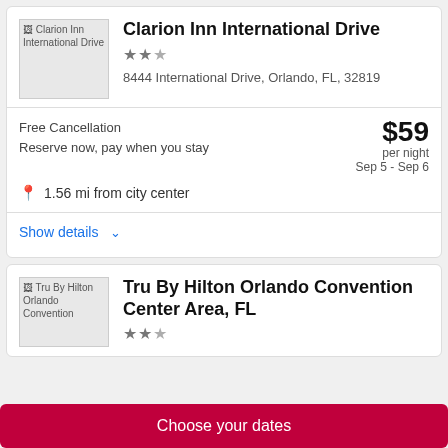Clarion Inn International Drive
8444 International Drive, Orlando, FL, 32819
Free Cancellation
Reserve now, pay when you stay
$59 per night Sep 5 - Sep 6
1.56 mi from city center
Show details
Tru By Hilton Orlando Convention Center Area, FL
Choose your dates